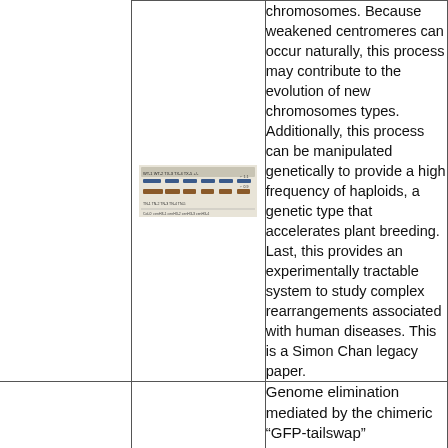[Figure (photo): Western blot or gel image showing multiple lanes with protein/DNA bands]
chromosomes. Because weakened centromeres can occur naturally, this process may contribute to the evolution of new chromosomes types. Additionally, this process can be manipulated genetically to provide a high frequency of haploids, a genetic type that accelerates plant breeding. Last, this provides an experimentally tractable system to study complex rearrangements associated with human diseases. This is a Simon Chan legacy paper.
Genome elimination mediated by the chimeric "GFP-tailswap"